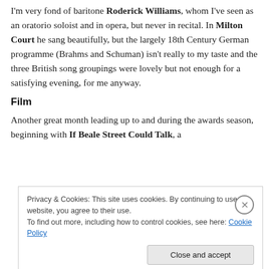I'm very fond of baritone Roderick Williams, whom I've seen as an oratorio soloist and in opera, but never in recital. In Milton Court he sang beautifully, but the largely 18th Century German programme (Brahms and Schuman) isn't really to my taste and the three British song groupings were lovely but not enough for a satisfying evening, for me anyway.
Film
Another great month leading up to and during the awards season, beginning with If Beale Street Could Talk, a
Privacy & Cookies: This site uses cookies. By continuing to use this website, you agree to their use.
To find out more, including how to control cookies, see here: Cookie Policy